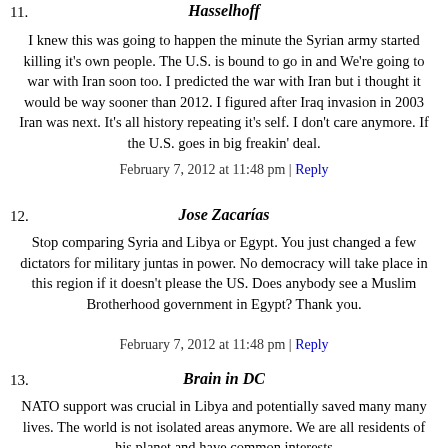Hasselhoff
I knew this was going to happen the minute the Syrian army started killing it's own people. The U.S. is bound to go in and We're going to war with Iran soon too. I predicted the war with Iran but i thought it would be way sooner than 2012. I figured after Iraq invasion in 2003 Iran was next. It's all history repeating it's self. I don't care anymore. If the U.S. goes in big freakin' deal.
February 7, 2012 at 11:48 pm | Reply
Jose Zacarías
Stop comparing Syria and Libya or Egypt. You just changed a few dictators for military juntas in power. No democracy will take place in this region if it doesn't please the US. Does anybody see a Muslim Brotherhood government in Egypt? Thank you.
February 7, 2012 at 11:48 pm | Reply
Brain in DC
NATO support was crucial in Libya and potentially saved many many lives. The world is not isolated areas anymore. We are all residents of his planet and have common interests